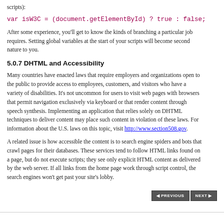scripts):
After some experience, you'll get to know the kinds of branching a particular job requires. Setting global variables at the start of your scripts will become second nature to you.
5.0.7 DHTML and Accessibility
Many countries have enacted laws that require employers and organizations open to the public to provide access to employees, customers, and visitors who have a variety of disabilities. It's not uncommon for users to visit web pages with browsers that permit navigation exclusively via keyboard or that render content through speech synthesis. Implementing an application that relies solely on DHTML techniques to deliver content may place such content in violation of these laws. For information about the U.S. laws on this topic, visit http://www.section508.gov.
A related issue is how accessible the content is to search engine spiders and bots that crawl pages for their databases. These services tend to follow HTML links found on a page, but do not execute scripts; they see only explicit HTML content as delivered by the web server. If all links from the home page work through script control, the search engines won't get past your site's lobby.
◄ PREVIOUS   NEXT ►